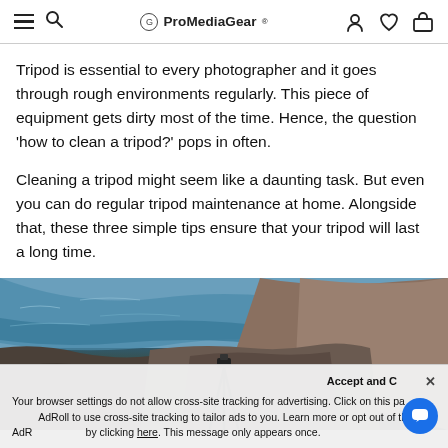≡ 🔍  ProMediaGear®  👤 ♡ 🛒
Tripod is essential to every photographer and it goes through rough environments regularly. This piece of equipment gets dirty most of the time. Hence, the question 'how to clean a tripod?' pops in often.
Cleaning a tripod might seem like a daunting task. But even you can do regular tripod maintenance at home. Alongside that, these three simple tips ensure that your tripod will last a long time.
[Figure (photo): Aerial/overhead view of a rocky coastal cliff with ocean water below, a tripod set up on the rocks, shot from above.]
Accept and Close ×
Your browser settings do not allow cross-site tracking for advertising. Click on this page to allow AdRoll to use cross-site tracking to tailor ads to you. Learn more or opt out of this AdRoll tracking by clicking here. This message only appears once.